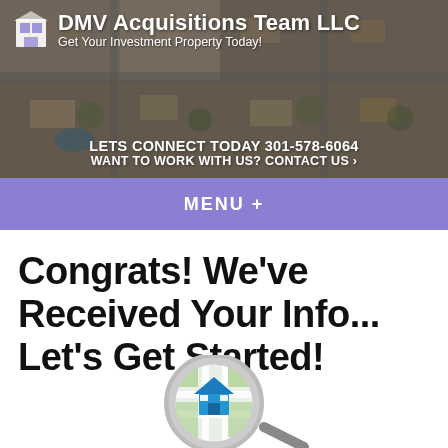DMV Acquisitions Team LLC
Get Your Investment Property Today!
LETS CONNECT TODAY 301-578-6064
WANT TO WORK WITH US? CONTACT US ›
MENU  +
Congrats! We've Received Your Info... Let's Get Started!
[Figure (illustration): A magnifying glass over a map with a blue house icon, representing real estate property search.]